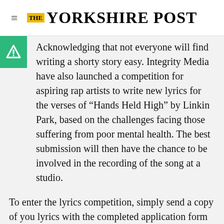THE YORKSHIRE POST
Acknowledging that not everyone will find writing a shorty story easy. Integrity Media have also launched a competition for aspiring rap artists to write new lyrics for the verses of “Hands Held High” by Linkin Park, based on the challenges facing those suffering from poor mental health. The best submission will then have the chance to be involved in the recording of the song at a studio.
To enter the lyrics competition, simply send a copy of you lyrics with the completed application form by December 31, 2021 to lyr@integrity-media.co.uk. If you’d like to